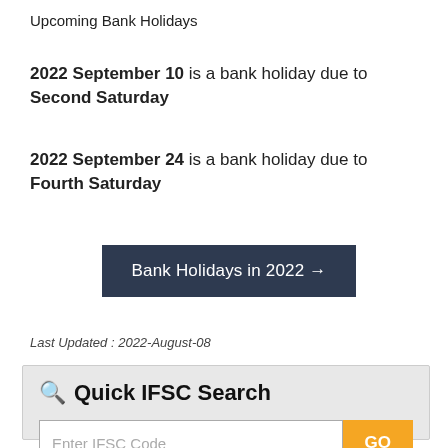Upcoming Bank Holidays
2022 September 10 is a bank holiday due to Second Saturday
2022 September 24 is a bank holiday due to Fourth Saturday
Bank Holidays in 2022 →
Last Updated : 2022-August-08
Quick IFSC Search
Enter IFSC Code
GO